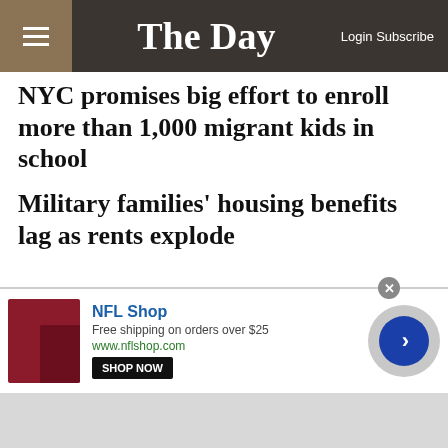The Day — Login Subscribe
NYC promises big effort to enroll more than 1,000 migrant kids in school
Military families' housing benefits lag as rents explode
Russians down Ukrainian drones in Crimea as war broadens
Alec Baldwin claims ‘Rust’ shooting has cost
[Figure (screenshot): Ad banner for NFL Shop. Red jersey product image on left. Text: NFL Shop, Free shipping on orders over $25, www.nflshop.com, SHOP NOW button. Navigation arrow circle on right.]